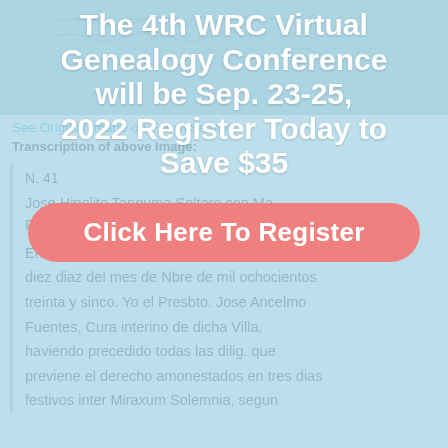[Figure (screenshot): Handwritten historical document scanned image used as background, partially visible at top]
The 4th WRC Virtual Genealogy Conference will be Sep. 23-25, 2022 Register Today to Save $35
Click Here To Register
See Original Image on FamilySearch
Transcription of above Image:
N. 41
Jose Hipolito Tanguma Soltero con Ma. Franca. Pena
En esta Parroquia de la Villa de Mier a los diez diaz del mes de Nbre de mil ochocientos treinta y sinco. Yo el Presbto. Jose Ancelmo Fuentes, Cura interino de dicha Villa, haviendo precedido todas las dilig. que previene el derecho amonestados en tres dias festivos inter Miraxum Solemnia, segun